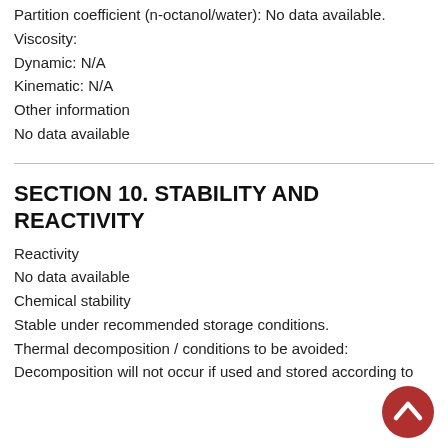Partition coefficient (n-octanol/water): No data available.
Viscosity:
Dynamic: N/A
Kinematic: N/A
Other information
No data available
SECTION 10. STABILITY AND REACTIVITY
Reactivity
No data available
Chemical stability
Stable under recommended storage conditions.
Thermal decomposition / conditions to be avoided:
Decomposition will not occur if used and stored according to